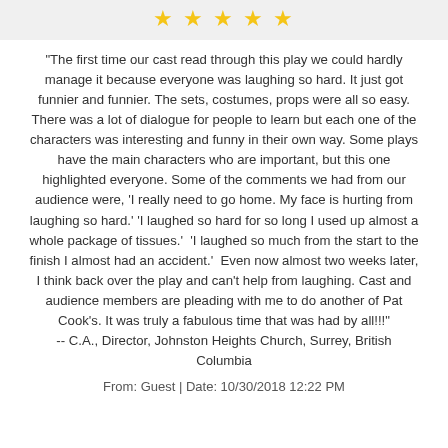[Figure (other): Five gold star rating icons displayed in a row on a light grey banner]
"The first time our cast read through this play we could hardly manage it because everyone was laughing so hard. It just got funnier and funnier. The sets, costumes, props were all so easy. There was a lot of dialogue for people to learn but each one of the characters was interesting and funny in their own way. Some plays have the main characters who are important, but this one highlighted everyone. Some of the comments we had from our audience were, 'I really need to go home. My face is hurting from laughing so hard.' 'I laughed so hard for so long I used up almost a whole package of tissues.'  'I laughed so much from the start to the finish I almost had an accident.'  Even now almost two weeks later, I think back over the play and can't help from laughing. Cast and audience members are pleading with me to do another of Pat Cook's. It was truly a fabulous time that was had by all!!!" -- C.A., Director, Johnston Heights Church, Surrey, British Columbia
From: Guest | Date: 10/30/2018 12:22 PM